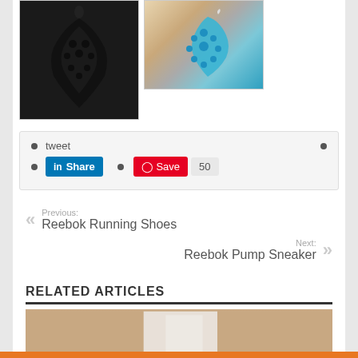[Figure (photo): Black crochet/lace earrings on white fur background]
[Figure (photo): Blue crochet/lace earrings held by hand on newspaper background]
tweet
Share (LinkedIn button)
Save 50 (Pinterest button)
Previous: Reebok Running Shoes
Next: Reebok Pump Sneaker
RELATED ARTICLES
[Figure (photo): White dress/clothing item on tan background]